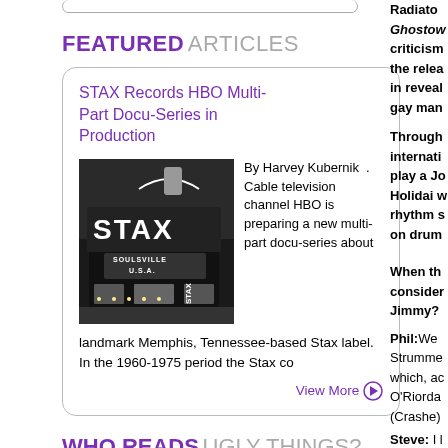FEATURED ARTICLES
STAX Records HBO Multi-Part Docu-Series in Production
[Figure (photo): Black and white photo of the STAX Records building with 'SOULSVILLE U.S.A.' marquee sign at night]
By Harvey Kubernik . Cable television channel HBO is preparing a new multi-part docu-series about landmark Memphis, Tennessee-based Stax label. In the 1960-1975 period the Stax co
View More ▶
WHO READS UGLY THINGS?
Radiator Ghostow criticism the relea in reveal gay man
Throughout internati play a Jo Holidai w rhythm s on drum
When th consider Jimmy?
Phil: We Strumme which, ac O'Riorda (Crashe)
Steve: I l D